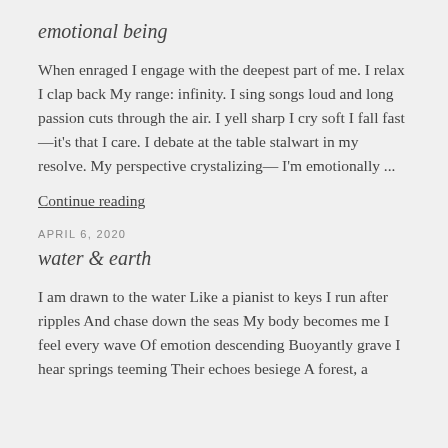emotional being
When enraged I engage with the deepest part of me. I relax I clap back My range: infinity. I sing songs loud and long passion cuts through the air. I yell sharp I cry soft I fall fast—it's that I care. I debate at the table stalwart in my resolve. My perspective crystalizing— I'm emotionally ...
Continue reading
APRIL 6, 2020
water & earth
I am drawn to the water Like a pianist to keys I run after ripples And chase down the seas My body becomes me I feel every wave Of emotion descending Buoyantly grave I hear springs teeming Their echoes besiege A forest, a